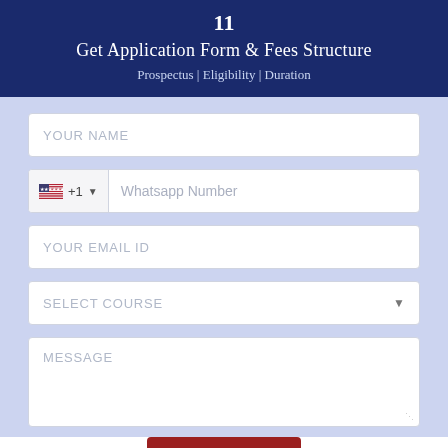Get Application Form & Fees Structure
Prospectus | Eligibility | Duration
[Figure (screenshot): Web form with fields: YOUR NAME, phone with US flag +1 prefix and Whatsapp Number placeholder, YOUR EMAIL ID, SELECT COURSE dropdown, MESSAGE textarea, and Submit button]
Submit